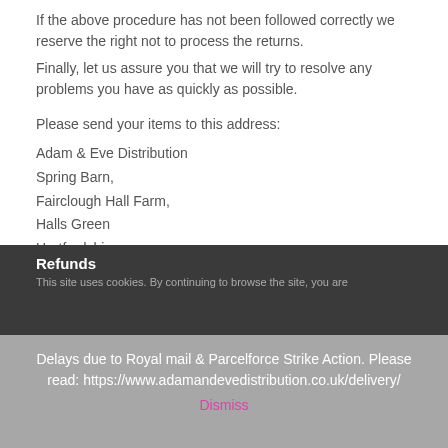If the above procedure has not been followed correctly we reserve the right not to process the returns.
Finally, let us assure you that we will try to resolve any problems you have as quickly as possible.
Please send your items to this address:
Adam & Eve Distribution
Spring Barn,
Fairclough Hall Farm,
Halls Green
Hertfordshire
SG4 7DP
Refunds
This site uses cookies. By continuing to browse the site, you are
Delays due to Royal mail & Parcelforce Strike Action. Please read: https://www.adamandevedistribution.co.uk/delivery/
Dismiss